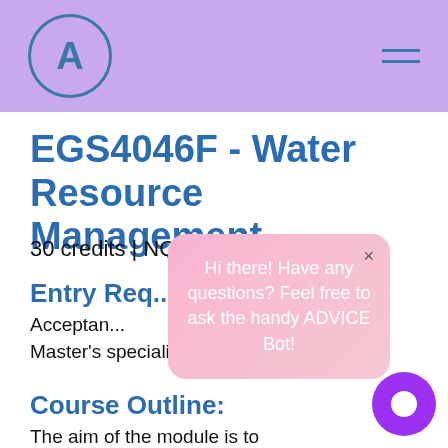A
EGS4046F - Water Resource Management
30 credits | NQF level 9
Entry Requirements
Acceptance into the MSc or Master's specialising in EGS.
Course Outline:
The aim of the module is to